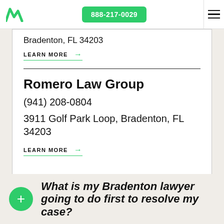888-217-0029
Bradenton, FL 34203
LEARN MORE →
Romero Law Group
(941) 208-0804
3911 Golf Park Loop, Bradenton, FL 34203
LEARN MORE →
What is my Bradenton lawyer going to do first to resolve my case?